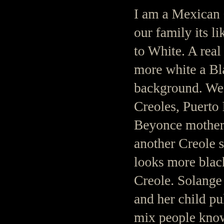I am a Mexican Creole and one thing I do know is our family its like a Gumbo. We have family from Black to White. A real Creole looks mix. French Creole looks more white a Black Creole is Black but mix in there background. We have Philopino Creoles, Mexican Creoles, Puerto Rican Creoles we all mixed. Beyonce mother is Creole and she did not marry another Creole so that is why Beyonce and Solange looks more black but they are mix in there they are Creole. Solange looks black but she married a white and her child pulled alot of French/White features. Only mix people know about mixture. Beyonce baby looks Latino but in a few years the baby will look different b/c thats just apart of the mixture b/c of how it works. Creoles tend to mix in now but back in the day Creoles married Creoles to keep to mixture alive. True Creoles carry French surnames not surnames like Jackson, Thomas, Johnson, and Jerfferson etc..People in Los Angeles ask me what are you I am Mexican mix with French Creole. Mos...